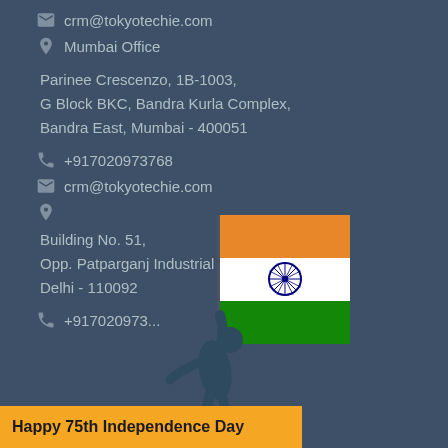crm@tokyotechie.com
Mumbai Office
Parinee Crescenzo, 1B-1003,
G Block BKC, Bandra Kurla Complex,
Bandra East, Mumbai - 400051
+917020973768
crm@tokyotechie.com
[Figure (illustration): Silhouette of a person holding an Indian tricolor flag (saffron, white, green with Ashoka Chakra)]
Building No. 51,
Opp. Patparganj Industrial Area,
Delhi - 110092
+917020973...
crm@tokyotechie.com (partially visible)
Happy 75th Independence Day